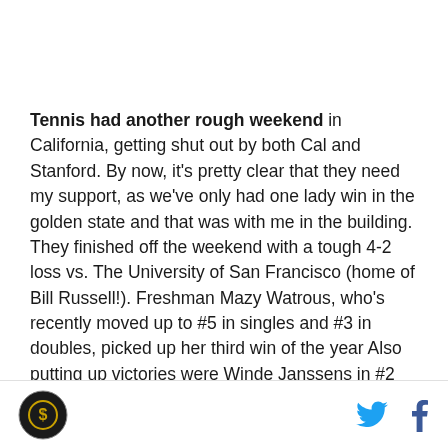Tennis had another rough weekend in California, getting shut out by both Cal and Stanford. By now, it's pretty clear that they need my support, as we've only had one lady win in the golden state and that was with me in the building. They finished off the weekend with a tough 4-2 loss vs. The University of San Francisco (home of Bill Russell!). Freshman Mazy Watrous, who's recently moved up to #5 in singles and #3 in doubles, picked up her third win of the year Also putting up victories were Winde Janssens in #2 singles and Julvotte Stour and Erin Sanders in #1 doubles
[logo] [twitter] [facebook]